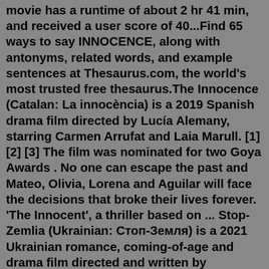movie has a runtime of about 2 hr 41 min, and received a user score of 40...Find 65 ways to say INNOCENCE, along with antonyms, related words, and example sentences at Thesaurus.com, the world's most trusted free thesaurus.The Innocence (Catalan: La innocència) is a 2019 Spanish drama film directed by Lucía Alemany, starring Carmen Arrufat and Laia Marull. [1] [2] [3] The film was nominated for two Goya Awards . No one can escape the past and Mateo, Olivia, Lorena and Aguilar will face the decisions that broke their lives forever. 'The Innocent', a thriller based on ... Stop-Zemlia (Ukrainian: Стоп-Земля) is a 2021 Ukrainian romance, coming-of-age and drama film directed and written by Ukrainian director Kateryna Gornostai, and starring Maria Fedorchenko, Arsenii Markov, Yana Isaienko and Oleksandr Ivanov.The feature film portrays a teenage coming of age story. All the depicted events are fiction, but creative team attempted to portray them as ...Matt Damon stars in Stillwater as the father of a young woman serving a prison sentence in France